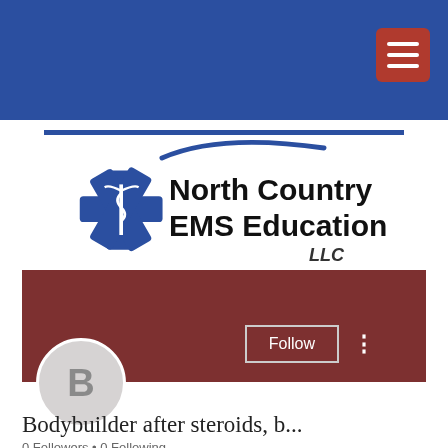[Figure (screenshot): Screenshot of a website with blue top navigation bar and hamburger menu icon in red/brown button]
[Figure (logo): North Country EMS Education LLC logo with star of life medical symbol and swoosh]
[Figure (screenshot): Social profile section with brown cover photo, avatar circle with letter B, Follow button, and three-dot menu]
Bodybuilder after steroids, b...
0 Followers • 0 Following